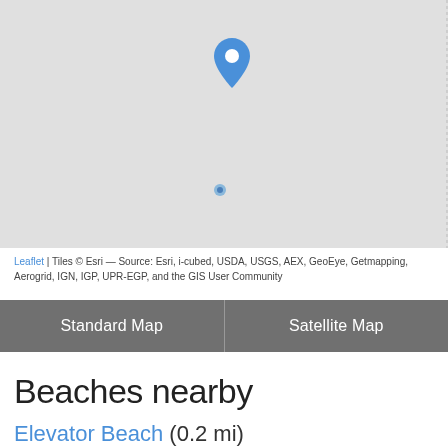[Figure (map): A map view with a blue location pin marker and a smaller blue dot marker below it on a grey map background.]
Leaflet | Tiles © Esri — Source: Esri, i-cubed, USDA, USGS, AEX, GeoEye, Getmapping, Aerogrid, IGN, IGP, UPR-EGP, and the GIS User Community
Standard Map | Satellite Map
Beaches nearby
Elevator Beach (0.2 mi)